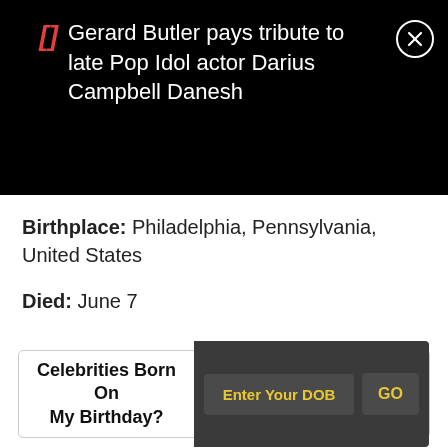Gerard Butler pays tribute to late Pop Idol actor Darius Campbell Danesh
Birthplace: Philadelphia, Pennsylvania, United States
Died: June 7
Celebrities Born On My Birthday? Enter Your DOB GO